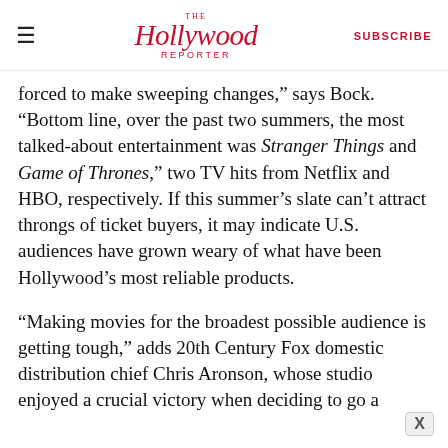The Hollywood Reporter | SUBSCRIBE
forced to make sweeping changes,” says Bock. “Bottom line, over the past two summers, the most talked-about entertainment was Stranger Things and Game of Thrones,” two TV hits from Netflix and HBO, respectively. If this summer’s slate can’t attract throngs of ticket buyers, it may indicate U.S. audiences have grown weary of what have been Hollywood’s most reliable products.
“Making movies for the broadest possible audience is getting tough,” adds 20th Century Fox domestic distribution chief Chris Aronson, whose studio enjoyed a crucial victory when deciding to go a different route with Deadpool. With a sharply...